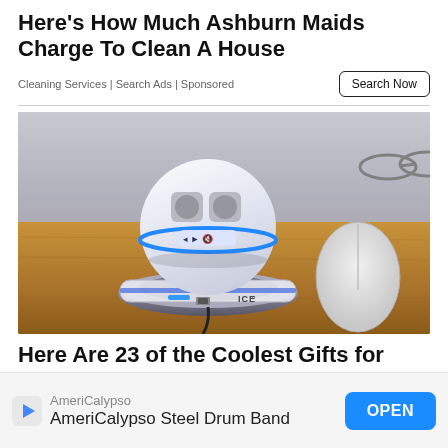Here's How Much Ashburn Maids Charge To Clean A House
Cleaning Services | Search Ads | Sponsored
Search Now
[Figure (photo): A levitating spherical Bluetooth speaker (ICE branded) floating above its round magnetic base on a wooden desk surface, with a computer mouse visible in the background.]
Here Are 23 of the Coolest Gifts for This
AmeriCalypso
AmeriCalypso Steel Drum Band
OPEN